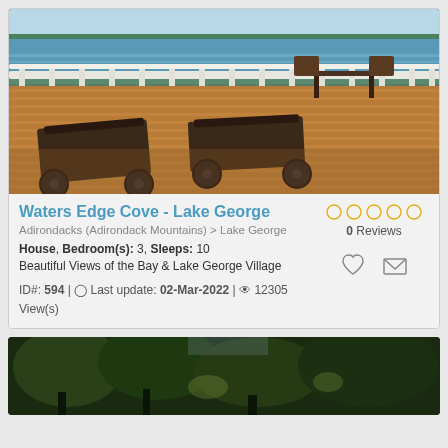[Figure (photo): Waterfront deck with lounge chairs and railing overlooking Lake George]
Waters Edge Cove - Lake George
Adirondacks (Adirondack Mountains) > Lake George
House, Bedroom(s): 3, Sleeps: 10
Beautiful Views of the Bay & Lake George Village
ID#: 594 | Last update: 02-Mar-2022 | 12305 View(s)
[Figure (photo): Wooded area with trees and glimpse of water in background, partially visible second listing]